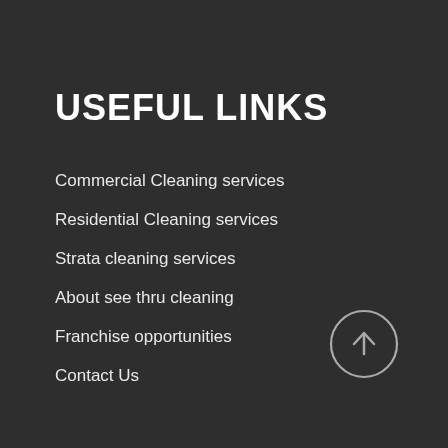USEFUL LINKS
Commercial Cleaning services
Residential Cleaning services
Strata cleaning services
About see thru cleaning
Franchise opportunities
Contact Us
[Figure (illustration): Circular arrow-up button icon in grey outline style]